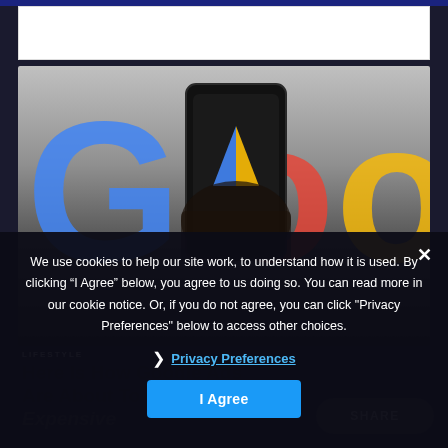[Figure (photo): Hand holding a smartphone displaying Google Ads icon in front of a large Google logo background]
LIFESTYLE
Here Is How Google Ads Are About To Get More Expensive
We use cookies to help our site work, to understand how it is used. By clicking “I Agree” below, you agree to us doing so. You can read more in our cookie notice. Or, if you do not agree, you can click "Privacy Preferences" below to access other choices.
Privacy Preferences
I Agree
SHARE